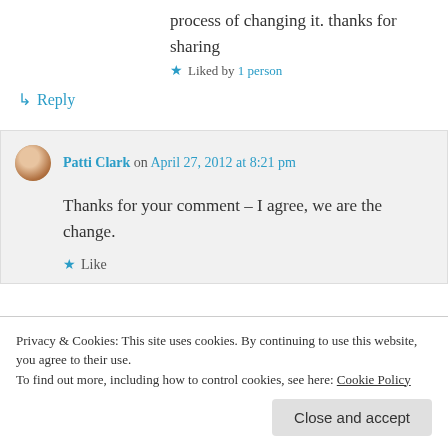process of changing it. thanks for sharing
★ Liked by 1 person
↳ Reply
Patti Clark on April 27, 2012 at 8:21 pm
Thanks for your comment – I agree, we are the change.
★ Like
Privacy & Cookies: This site uses cookies. By continuing to use this website, you agree to their use.
To find out more, including how to control cookies, see here: Cookie Policy
Close and accept